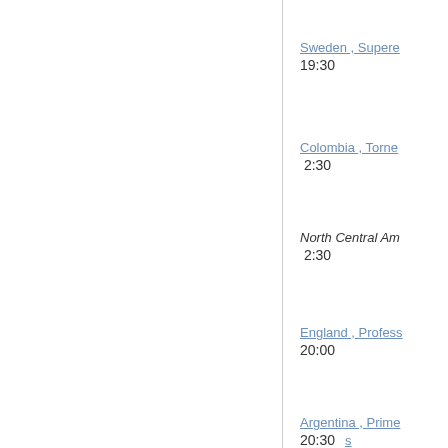Sweden , Supere...
19:30
Colombia , Torne...
2:30
North Central Am...
2:30
England , Profess...
20:00
Argentina , Prime...
20:30
Argentina , Prime...
20:30
20:30  CS...
20:30
20:30